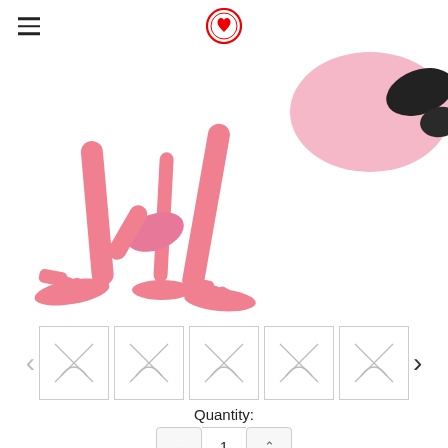Navigation header with hamburger menu and logo
[Figure (photo): Close-up photo of a pink flamingo stuffed animal plush toy, showing its pink legs and feet against a white background, with black-tipped wings visible in the upper right corner]
[Figure (other): Row of five thumbnail image placeholders (broken image icons) for product images, with left and right navigation arrows]
Quantity:
1